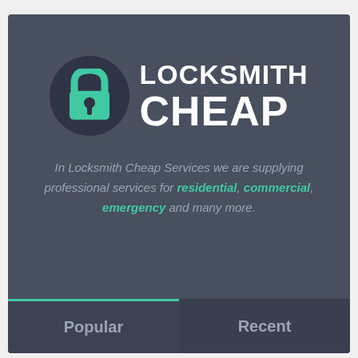[Figure (logo): Locksmith Cheap logo: teal padlock icon on dark circle, with bold white text LOCKSMITH CHEAP]
In Locksmith Cheap Services we are supplying professional services for residential, commercial, emergency and many more.
Popular
Recent